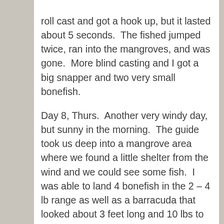roll cast and got a hook up, but it lasted about 5 seconds.  The fished jumped twice, ran into the mangroves, and was gone.  More blind casting and I got a big snapper and two very small bonefish.

Day 8, Thurs.  Another very windy day, but sunny in the morning.  The guide took us deep into a mangrove area where we found a little shelter from the wind and we could see some fish.  I was able to land 4 bonefish in the 2 – 4 lb range as well as a barracuda that looked about 3 feet long and 10 lbs to me.  The guide said it was 12 lbs.  We had lunch at a cayo that was filled with small iguanas who all came up to us expecting to be fed.  The afternoon was a bust.  The wind really picked up along with cloud cover in the afternoon.  We tried to find permit, and saw a